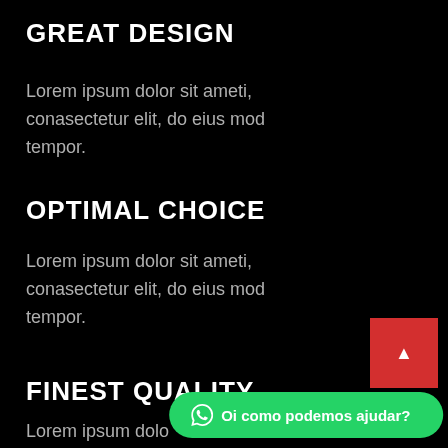GREAT DESIGN
Lorem ipsum dolor sit ameti, conasectetur elit, do eius mod tempor.
OPTIMAL CHOICE
Lorem ipsum dolor sit ameti, conasectetur elit, do eius mod tempor.
FINEST QUALITY
Lorem ipsum dolo conasectetur elit, do eius mod
[Figure (other): Red scroll-to-top button with upward triangle arrow]
Oi como podemos ajudar?